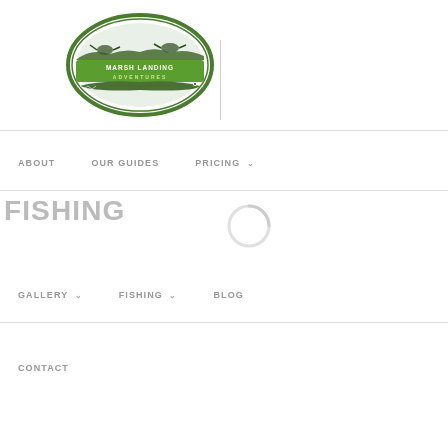[Figure (logo): Marsh Landing Adventures oval logo with green border, featuring a landscape scene with birds, an alligator, and 'MARSH LANDING ADVENTURES' text on a green banner]
ABOUT
OUR GUIDES
PRICING
FISHING
GALLERY
FISHING
BLOG
CONTACT